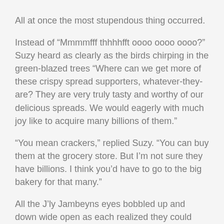All at once the most stupendous thing occurred.
Instead of “Mmmmfff thhhhfft oooo oooo oooo?” Suzy heard as clearly as the birds chirping in the green-blazed trees “Where can we get more of these crispy spread supporters, whatever-they-are? They are very truly tasty and worthy of our delicious spreads. We would eagerly with much joy like to acquire many billions of them.”
“You mean crackers,” replied Suzy. “You can buy them at the grocery store. But I’m not sure they have billions. I think you’d have to go to the big bakery for that many.”
All the J’ly Jambeyns eyes bobbled up and down wide open as each realized they could understand Suzy. It was a complete and delicious surprise to them.
Somehow, the tasty treats they shared freely with each other had given them the ability to talk to each other. They could communicate! And communicate they did.